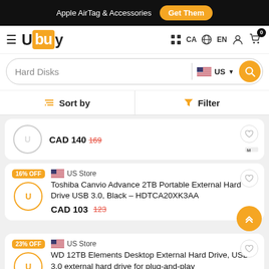Apple AirTag & Accessories  Get Them
[Figure (logo): Ubuy logo with orange box]
CA  EN  navigation icons  cart 0
Hard Disks  US  search button
Sort by  Filter
CAD 140  169
16% OFF  US Store  Toshiba Canvio Advance 2TB Portable External Hard Drive USB 3.0, Black - HDTCA20XK3AA  CAD 103  123
23% OFF  US Store  WD 12TB Elements Desktop External Hard Drive, USB 3.0 external hard drive for plug-and-play